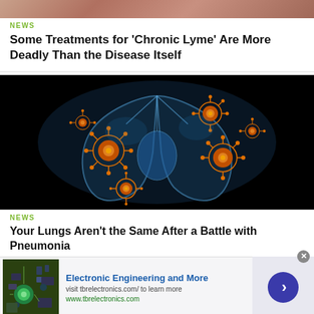[Figure (photo): Top portion of a news article thumbnail image, partially visible — appears to show a domestic/lifestyle scene with muted warm tones]
NEWS
Some Treatments for 'Chronic Lyme' Are More Deadly Than the Disease Itself
[Figure (illustration): Medical illustration of human lungs on a dark/black background with glowing orange virus particles scattered throughout, shown in blue X-ray style]
NEWS
Your Lungs Aren't the Same After a Battle with Pneumonia
[Figure (photo): Advertisement thumbnail showing an aerial/top-down view of electronic components and green dome-like structures]
Electronic Engineering and More
visit tbrelectronics.com/ to learn more
www.tbrelectronics.com